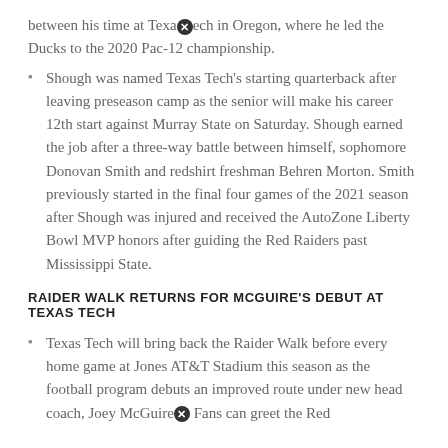between his time at Texas Tech in Oregon, where he led the Ducks to the 2020 Pac-12 championship.
Shough was named Texas Tech's starting quarterback after leaving preseason camp as the senior will make his career 12th start against Murray State on Saturday. Shough earned the job after a three-way battle between himself, sophomore Donovan Smith and redshirt freshman Behren Morton. Smith previously started in the final four games of the 2021 season after Shough was injured and received the AutoZone Liberty Bowl MVP honors after guiding the Red Raiders past Mississippi State.
RAIDER WALK RETURNS FOR MCGUIRE'S DEBUT AT TEXAS TECH
Texas Tech will bring back the Raider Walk before every home game at Jones AT&T Stadium this season as the football program debuts an improved route under new head coach, Joey McGuire. Fans can greet the Red